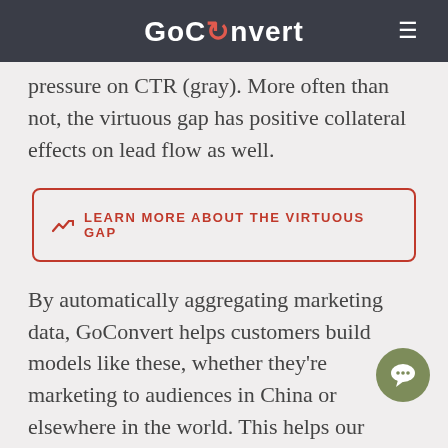GoConvert
pressure on CTR (gray). More often than not, the virtuous gap has positive collateral effects on lead flow as well.
LEARN MORE ABOUT THE VIRTUOUS GAP
By automatically aggregating marketing data, GoConvert helps customers build models like these, whether they're marketing to audiences in China or elsewhere in the world. This helps our customers build powerful trend models, reveal actionable insights, and maximize the ROI of marketing spending.